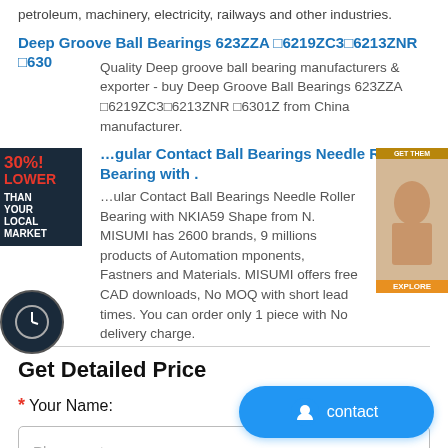petroleum, machinery, electricity, railways and other industries.
Deep Groove Ball Bearings 623ZZA □6219ZC3□6213ZNR □630
Quality Deep groove ball bearing manufacturers & exporter - buy Deep Groove Ball Bearings 623ZZA □6219ZC3□6213ZNR □6301Z from China manufacturer.
…gular Contact Ball Bearings Needle Roller Bearing with .
…ular Contact Ball Bearings Needle Roller Bearing with NKIA59 Shape from N. MISUMI has 2600 brands, 9 millions products of Automation mponents, Fastners and Materials. MISUMI offers free CAD downloads, No MOQ with short lead times. You can order only 1 piece with No delivery charge.
Get Detailed Price
* Your Name:
Please enter your name